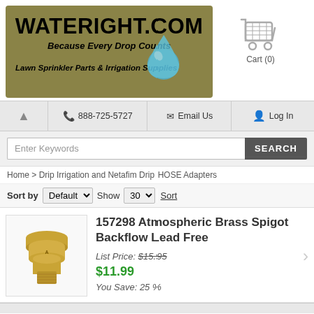[Figure (logo): WATERIGHT.COM logo banner with tagline 'Because Every Drop Counts' and 'Lawn Sprinkler Parts & Irrigation Supplies' on olive/tan background with water drop graphic]
[Figure (illustration): Shopping cart icon in gray]
Cart (0)
888-725-5727
Email Us
Log In
Enter Keywords
Home > Drip Irrigation and Netafim Drip HOSE Adapters
Sort by Default Show 30 Sort
[Figure (photo): Brass spigot backflow preventer fitting, gold/yellow metallic color]
157298 Atmospheric Brass Spigot Backflow Lead Free
List Price: $15.95
$11.99
You Save: 25 %